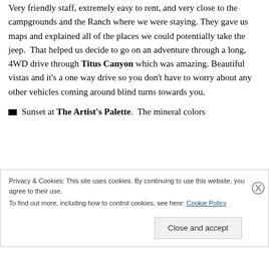Very friendly staff, extremely easy to rent, and very close to the campgrounds and the Ranch where we were staying. They gave us maps and explained all of the places we could potentially take the jeep. That helped us decide to go on an adventure through a long, 4WD drive through Titus Canyon which was amazing. Beautiful vistas and it's a one way drive so you don't have to worry about any other vehicles coming around blind turns towards you.
Sunset at The Artist's Palette. The mineral colors
Privacy & Cookies: This site uses cookies. By continuing to use this website, you agree to their use.
To find out more, including how to control cookies, see here: Cookie Policy